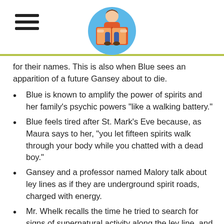[hamburger menu icon] [reading boy logo]
for their names. This is also when Blue sees an apparition of a future Gansey about to die.
Blue is known to amplify the power of spirits and her family's psychic powers “like a walking battery.”
Blue feels tired after St. Mark’s Eve because, as Maura says to her, “you let fifteen spirits walk through your body while you chatted with a dead boy.”
Gansey and a professor named Malory talk about ley lines as if they are underground spirit roads, charged with energy.
Mr. Whelk recalls the time he tried to search for signs of supernatural activity along the ley line, and performed a ritual with his friend, Czerny, as a way to give sacrifice to the ley line. This ritual results in Mr. Whelk killing Czerny.
Finding a slanting, green-carpeted field outlined in a pale fracture of lines that look like a raven, Gansey